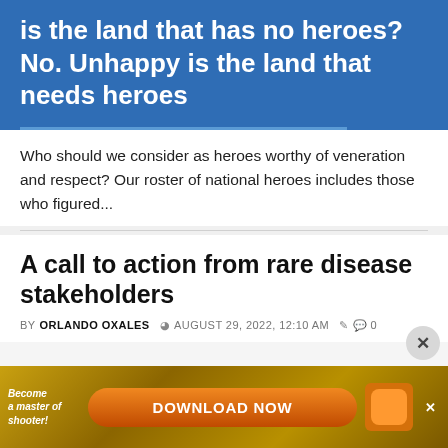[Figure (screenshot): Blue banner with white bold text: 'is the land that has no heroes? No. Unhappy is the land that needs heroes']
Who should we consider as heroes worthy of veneration and respect? Our roster of national heroes includes those who figured...
A call to action from rare disease stakeholders
BY ORLANDO OXALES  © AUGUST 29, 2022, 12:10 AM  💬 0
[Figure (screenshot): Advertisement banner: 'Become a master of shooter! DOWNLOAD NOW' with game graphics and close button]